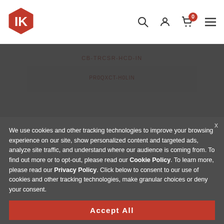[Figure (logo): IK Multimedia hexagon logo in red and white]
Search icon, User icon, Cart (0), Menu icon
CB-TRCSR-HCD-IN
We use cookies and other tracking technologies to improve your browsing experience on our site, show personalized content and targeted ads, analyze site traffic, and understand where our audience is coming from. To find out more or to opt-out, please read our Cookie Policy. To learn more, please read our Privacy Policy. Click below to consent to our use of cookies and other tracking technologies, make granular choices or deny your consent.
Accept All
Manage Settings
SPECIAL OFFERS
Deny All
THIS MONTH